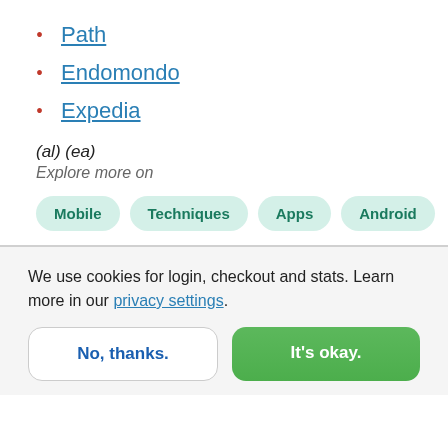Path
Endomondo
Expedia
(al) (ea)
Explore more on
Mobile | Techniques | Apps | Android
We use cookies for login, checkout and stats. Learn more in our privacy settings.
No, thanks.
It's okay.